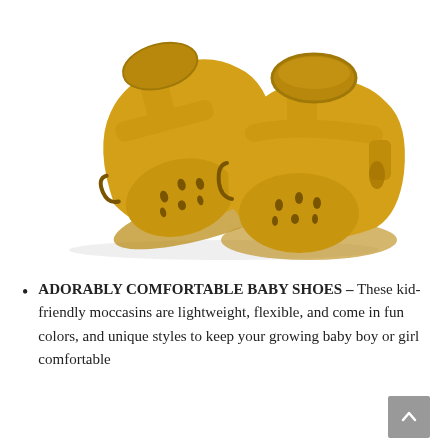[Figure (photo): Two yellow/mustard leather baby moccasin shoes with T-strap design, decorative cutout perforations on the toe, and rolled ankle collar, photographed on a white background.]
ADORABLY COMFORTABLE BABY SHOES – These kid-friendly moccasins are lightweight, flexible, and come in fun colors, and unique styles to keep your growing baby boy or girl comfortable